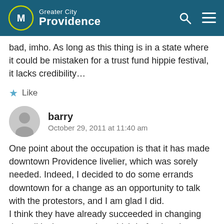Greater City Providence
bad, imho. As long as this thing is in a state where it could be mistaken for a trust fund hippie festival, it lacks credibility...
Like
barry
October 29, 2011 at 11:40 am
One point about the occupation is that it has made downtown Providence livelier, which was sorely needed. Indeed, I decided to do some errands downtown for a change as an opportunity to talk with the protestors, and I am glad I did.
I think they have already succeeded in changing the political conversation which beforehand was largely about deficits, and how unions, public employees, and government itself was bad, and now the